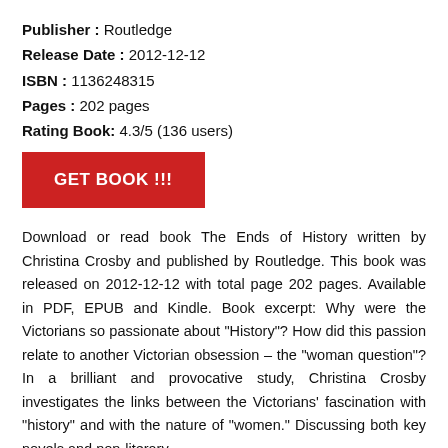Publisher : Routledge
Release Date : 2012-12-12
ISBN : 1136248315
Pages : 202 pages
Rating Book: 4.3/5 (136 users)
[Figure (other): Red button with white text reading GET BOOK !!!]
Download or read book The Ends of History written by Christina Crosby and published by Routledge. This book was released on 2012-12-12 with total page 202 pages. Available in PDF, EPUB and Kindle. Book excerpt: Why were the Victorians so passionate about "History"? How did this passion relate to another Victorian obsession – the "woman question"? In a brilliant and provocative study, Christina Crosby investigates the links between the Victorians' fascination with "history" and with the nature of "women." Discussing both key novels and non-literary